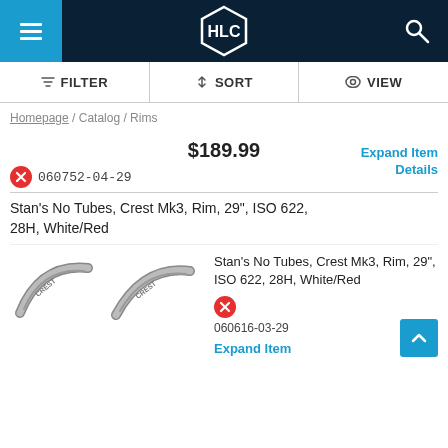[Figure (logo): HLC hexagon logo on dark navy header with hamburger menu and search icon]
FILTER  SORT  VIEW
Homepage / Catalog / Rims
Expand Item Details
$189.99
060752-04-29
Stan's No Tubes, Crest Mk3, Rim, 29", ISO 622, 28H, White/Red
[Figure (photo): Two bicycle rim arc photos side by side (silver/chrome finish)]
Stan's No Tubes, Crest Mk3, Rim, 29", ISO 622, 28H, White/Red
060616-03-29
Expand Item